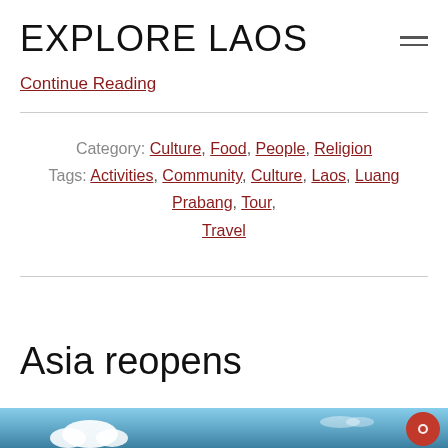EXPLORE LAOS
Continue Reading
Category: Culture, Food, People, Religion
Tags: Activities, Community, Culture, Laos, Luang Prabang, Tour, Travel
Asia reopens
[Figure (photo): Blue sky with clouds, partial view, article header image for 'Asia reopens']